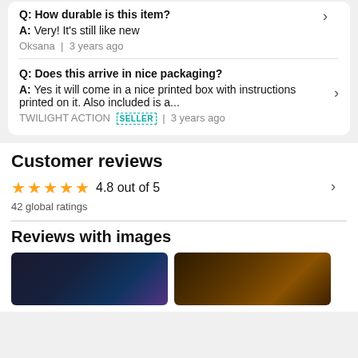Q: How durable is this item?
A: Very! It's still like new
Oksana  |  3 years ago
Q: Does this arrive in nice packaging?
A: Yes it will come in a nice printed box with instructions printed on it. Also included is a...
TWILIGHT ACTION SELLER  |  3 years ago
Customer reviews
4.8 out of 5
42 global ratings
Reviews with images
[Figure (photo): Two dark review images shown at the bottom of the page]